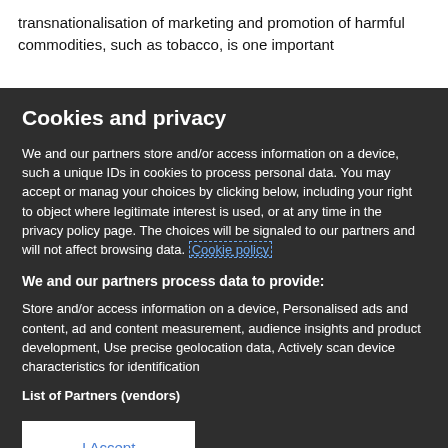transnationalisation of marketing and promotion of harmful commodities, such as tobacco, is one important
Cookies and privacy
We and our partners store and/or access information on a device, such as unique IDs in cookies to process personal data. You may accept or manage your choices by clicking below, including your right to object where legitimate interest is used, or at any time in the privacy policy page. These choices will be signaled to our partners and will not affect browsing data. Cookie policy
We and our partners process data to provide:
Store and/or access information on a device, Personalised ads and content, ad and content measurement, audience insights and product development, Use precise geolocation data, Actively scan device characteristics for identification
List of Partners (vendors)
I Accept